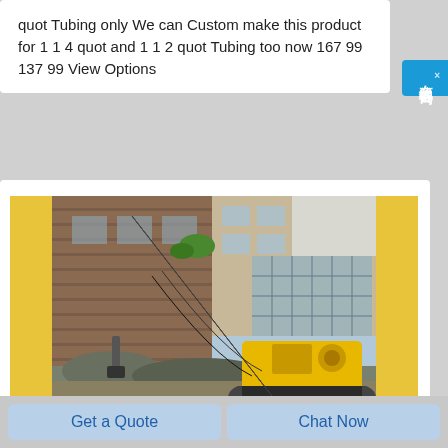quot Tubing only We can Custom make this product for 1 1 4 quot and 1 1 2 quot Tubing too now 167 99 137 99 View Options
[Figure (photo): A yellow and black drilling rig / rock drill machine operating in a construction site or excavation area, positioned against a stone/brick wall. The machine has a crawler base and a long drill mast angled toward the rock face. Yellow side borders frame the image.]
Get a Quote
Chat Now